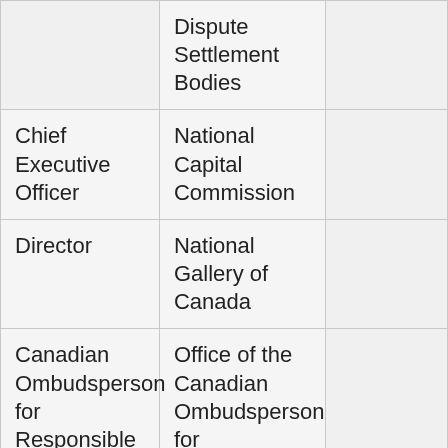|  | Dispute Settlement Bodies |  |
| Chief Executive Officer | National Capital Commission |  |
| Director | National Gallery of Canada |  |
| Canadian Ombudsperson for Responsible Enterprise | Office of the Canadian Ombudsperson for Responsible Enterprise |  |